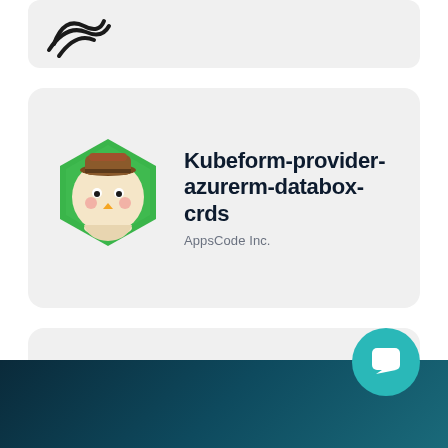[Figure (logo): Partial logo card at top — partially visible logo icon on grey rounded card]
[Figure (logo): Kubeform provider azurerm databox crds logo — green hexagon with chick wearing cowboy hat]
Kubeform-provider-azurerm-databox-crds
AppsCode Inc.
[Figure (logo): Overleaf logo — green stylized number 6 with leaf]
Overleaf
k8s@home